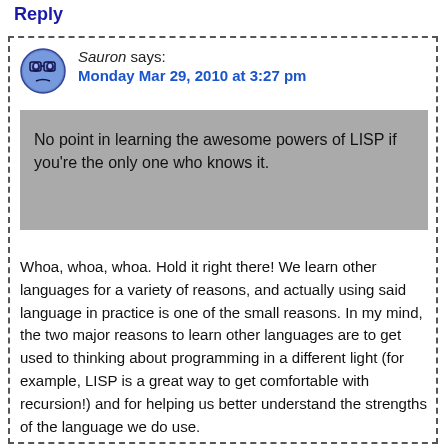Reply
Sauron says:
Monday Mar 29, 2010 at 3:27 pm
No point in learning the awesome powers of LISP if you're the only one who knows it.
Whoa, whoa, whoa. Hold it right there! We learn other languages for a variety of reasons, and actually using said language in practice is one of the small reasons. In my mind, the two major reasons to learn other languages are to get used to thinking about programming in a different light (for example, LISP is a great way to get comfortable with recursion!) and for helping us better understand the strengths of the language we do use.
Reply